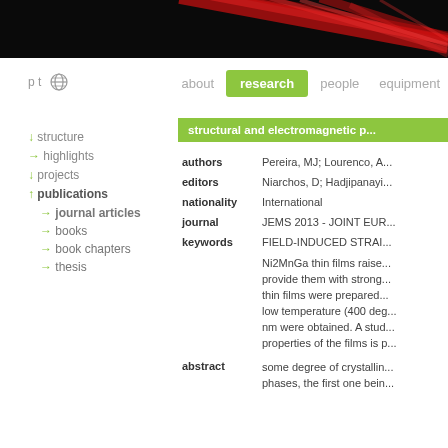[Figure (photo): Dark banner with red diagonal light streaks on black background]
pt | [globe icon] | about | research | people | equipment
↓ structure
→ highlights
↓ projects
↑ publications
→ journal articles
→ books
→ book chapters
→ thesis
structural and electromagnetic p...
| field | value |
| --- | --- |
| authors | Pereira, MJ; Lourenco, A... |
| editors | Niarchos, D; Hadjipanayi... |
| nationality | International |
| journal | JEMS 2013 - JOINT EUR... |
| keywords | FIELD-INDUCED STRAI... |
|  | Ni2MnGa thin films raise... provide them with strong... thin films were prepared... low temperature (400 deg... nm were obtained. A stud... properties of the films is p... |
| abstract | some degree of crystallin... phases, the first one bein... |